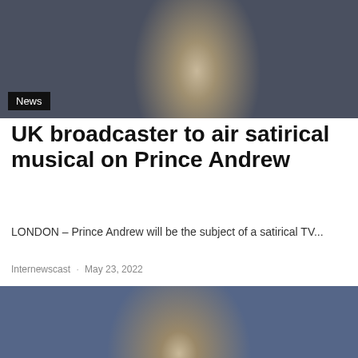[Figure (photo): Man in dark suit and black tie standing outdoors, upper body visible, stone building in background]
News
UK broadcaster to air satirical musical on Prince Andrew
LONDON – Prince Andrew will be the subject of a satirical TV...
Internewscast · May 23, 2022
[Figure (photo): Man in dark suit and striped tie speaking at event, colorful blurred background with red and blue elements]